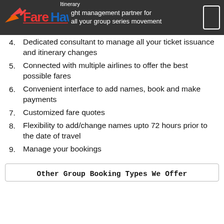Itinerary — FareHawker — flight management partner for all your group series movement
4. Dedicated consultant to manage all your ticket issuance and itinerary changes
5. Connected with multiple airlines to offer the best possible fares
6. Convenient interface to add names, book and make payments
7. Customized fare quotes
8. Flexibility to add/change names upto 72 hours prior to the date of travel
9. Manage your bookings
Other Group Booking Types We Offer